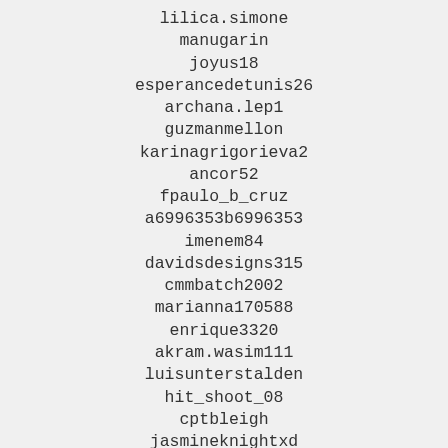lilica.simone
manugarin
joyus18
esperancedetunis26
archana.lep1
guzmanmellon
karinagrigorieva2
ancor52
fpaulo_b_cruz
a6996353b6996353
imenem84
davidsdesigns315
cmmbatch2002
marianna170588
enrique3320
akram.wasim111
luisunterstalden
hit_shoot_08
cptbleigh
jasmineknightxd
destinioverton
37dror
andychristoff
akashrocks.uall